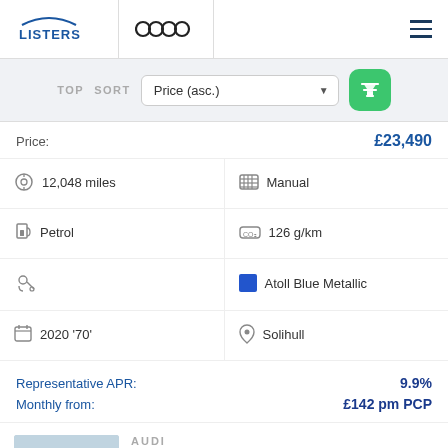[Figure (logo): Listers logo with blue arc and text, and Audi four-rings logo]
TOP  SORT  Price (asc.)
Price: £23,490
| 12,048 miles | Manual |
| Petrol | 126 g/km |
|  | Atoll Blue Metallic |
| 2020 '70' | Solihull |
Representative APR: 9.9%
Monthly from: £142 pm PCP
AUDI
A3 Sportback